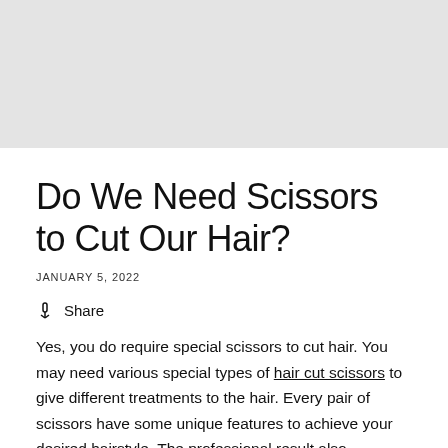[Figure (photo): Light grey rectangular hero image placeholder at top of page]
Do We Need Scissors to Cut Our Hair?
JANUARY 5, 2022
Share
Yes, you do require special scissors to cut hair. You may need various special types of hair cut scissors to give different treatments to the hair. Every pair of scissors have some unique features to achieve your desired hairstyle. The professional result also